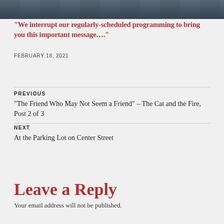[Figure (photo): Photo strip at top of page showing a building or outdoor scene, partially cropped]
“We interrupt our regularly-scheduled programming to bring you this important message….”
FEBRUARY 18, 2021
PREVIOUS
“The Friend Who May Not Seem a Friend” – The Cat and the Fire, Post 2 of 3
NEXT
At the Parking Lot on Center Street
Leave a Reply
Your email address will not be published.